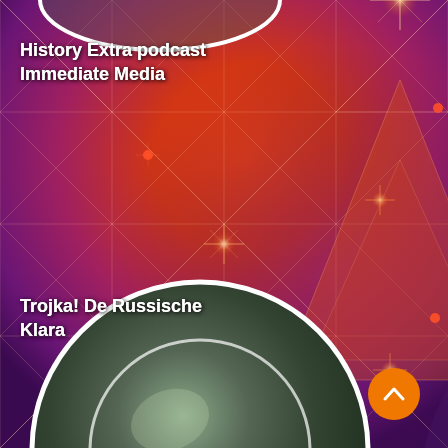[Figure (screenshot): Mobile app UI screenshot showing a podcast/radio listing app with a vibrant red-orange-purple geometric abstract background featuring hexagonal grid lines, triangles, circles with light flares, and starburst effects. Shows podcast album art circles and text labels.]
History Extra podcast
Immediate Media
Trojka! De Russische
Klara